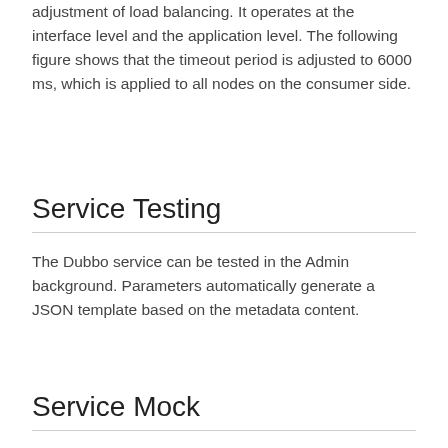adjustment of load balancing. It operates at the interface level and the application level. The following figure shows that the timeout period is adjusted to 6000 ms, which is applied to all nodes on the consumer side.
Service Testing
The Dubbo service can be tested in the Admin background. Parameters automatically generate a JSON template based on the metadata content.
Service Mock